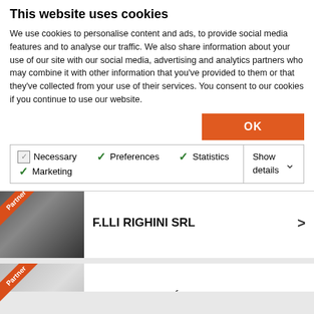This website uses cookies
We use cookies to personalise content and ads, to provide social media features and to analyse our traffic. We also share information about your use of our site with our social media, advertising and analytics partners who may combine it with other information that you've provided to them or that they've collected from your use of their services. You consent to our cookies if you continue to use our website.
OK
Necessary | Preferences | Statistics | Marketing | Show details
F.LLI RIGHINI SRL
SYNDICAT DES ÉNERGIES RENOUVELABLES